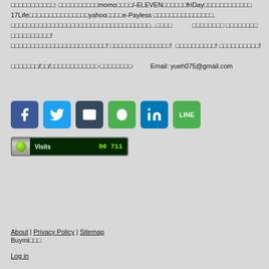□□□□□□□□□□□: □□□□□□□□□□momo□□□□/-ELEVEN□□□□□□friDay□□□□□□□□□□□□ 17Life□□□□□□□□□□□□□□□yahoo□□□□e-Payless □□□□□□□□□□□□□□□. □□□□□□□□□□□□□□□□□□□□□□□□□□□□□□□□□□□...□□□□          □□□□□□□□ □□□□□□□□ □□□□□□□□□□!
□□□□□□□□□□□□□□□□□□□□□□□□! □□□□□□□□□□□□□□□! □□□□□□□□□□! □□□□□□!
□□□□□□□/□□/□□□□□□□□□□□□·□□□□□□□□·        Email: yueh075@gmail.com
[Figure (infographic): Row of 6 social media share buttons: Facebook (blue), Twitter (blue), Email (dark), Evernote (green), LinkedIn (blue), LINE (green)]
[Figure (infographic): Website visit counter showing 'Visits 86 711' on a dark green LED-style display with metallic border and green indicator light]
About | Privacy Policy | Sitemap
Buymi□□□
Log in